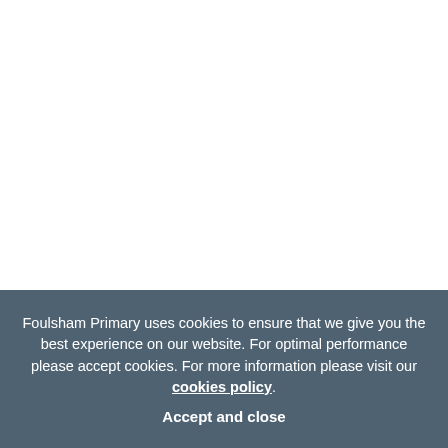Foulsham Primary uses cookies to ensure that we give you the best experience on our website. For optimal performance please accept cookies. For more information please visit our cookies policy.
Accept and close